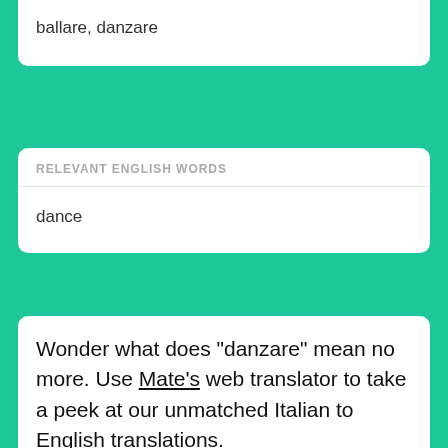ballare, danzare
RELEVANT ENGLISH WORDS
dance
Wonder what does "danzare" mean no more. Use Mate's web translator to take a peek at our unmatched Italian to English translations.
We made Mate beautifully for